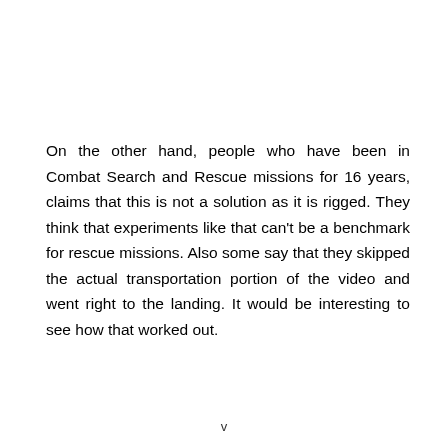On the other hand, people who have been in Combat Search and Rescue missions for 16 years, claims that this is not a solution as it is rigged. They think that experiments like that can't be a benchmark for rescue missions. Also some say that they skipped the actual transportation portion of the video and went right to the landing. It would be interesting to see how that worked out.
v